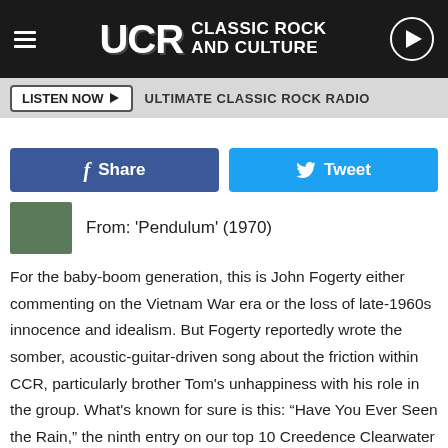UCR Classic Rock and Culture
LISTEN NOW ▶ ULTIMATE CLASSIC ROCK RADIO
f Share
Tweet
From: 'Pendulum' (1970)
For the baby-boom generation, this is John Fogerty either commenting on the Vietnam War era or the loss of late-1960s innocence and idealism. But Fogerty reportedly wrote the somber, acoustic-guitar-driven song about the friction within CCR, particularly brother Tom's unhappiness with his role in the group. What's known for sure is this: “Have You Ever Seen the Rain,” the ninth entry on our top 10 Creedence Clearwater Revival songs list, was CCR’s last big A-side featuring Tom Fogerty. It reached No. 8 in early 1971.